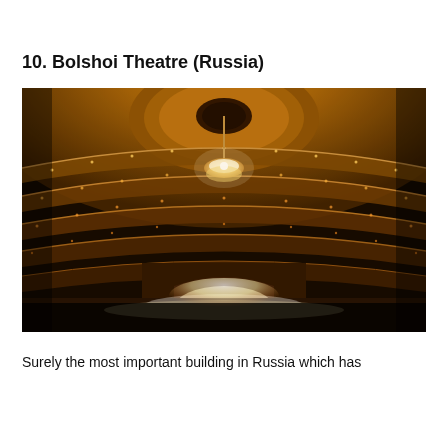10. Bolshoi Theatre (Russia)
[Figure (photo): Interior view of the Bolshoi Theatre in Russia showing ornate curved balcony tiers illuminated in warm amber/gold light, a large chandelier hanging from an ornately decorated circular ceiling, and a brightly lit stage visible at the bottom center.]
Surely the most important building in Russia which has